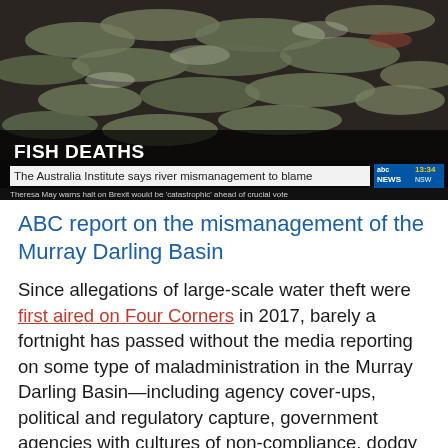[Figure (screenshot): ABC News broadcast screenshot showing fish deaths story. Bold text 'FISH DEATHS' with subtitle 'The Australia Institute says river mismanagement to blame'. ABC NEWS logo with timestamp 13:34 NSW. Lower ticker reads 'Theresa May warns halt on Brexit would be catastrophic ahead of crucial vote'. Background shows pile of dead fish.]
ABC report on the mismanagement of the Murray Darling Basin
Since allegations of large-scale water theft were first aired on Four Corners in 2017, barely a fortnight has passed without the media reporting on some type of maladministration in the Murray Darling Basin—including agency cover-ups, political and regulatory capture, government agencies with cultures of non-compliance, dodgy water deals, alleged fraud and unlawful